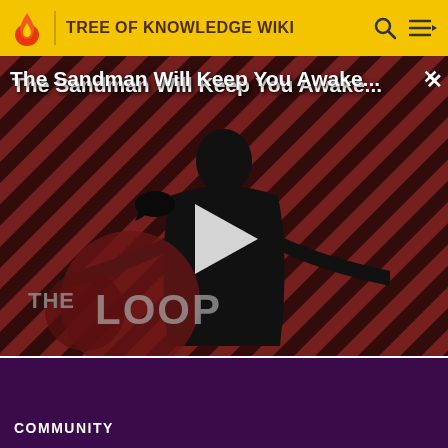TREE OF KNOWLEDGE WIKI
[Figure (screenshot): Video thumbnail for 'The Sandman Will Keep You Awake - The Loop'. Shows a figure in black against a red and black diagonal striped background with 'THE LOOP' watermark. A play button is visible in the center.]
The Sandman Will Keep You Awake...
The Sandman Will Keep You Awake - The Loop  01:40
Contact
COMMUNITY